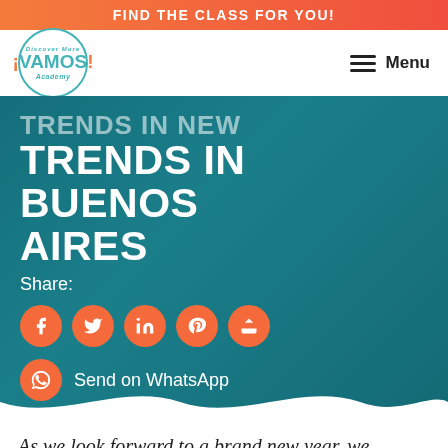FIND THE CLASS FOR YOU!
[Figure (logo): Vamos Academy circular logo with teal border, text 'Discover More ¡VAMOS! Academy']
Menu
TRENDS IN BUENOS AIRES
Share:
[Figure (infographic): Social share buttons: Facebook, Twitter, LinkedIn, Pinterest, Share icons (orange circles), and WhatsApp button]
Send on WhatsApp
As we look forward to a brand new year, we